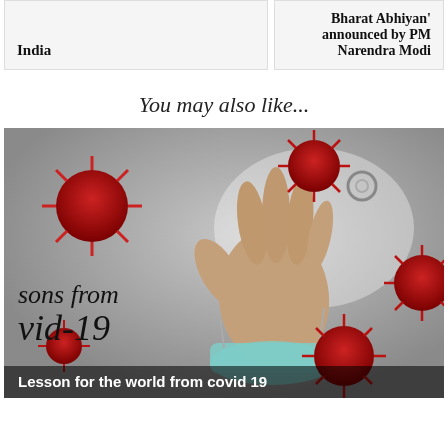India
Bharat Abhiyan' announced by PM Narendra Modi
You may also like...
[Figure (photo): A hand raised with a surgical mask hanging off it, surrounded by red coronavirus particles on a grey background. Partial text visible: 'sons from vid-19'. Caption overlay: 'Lesson for the world from covid 19']